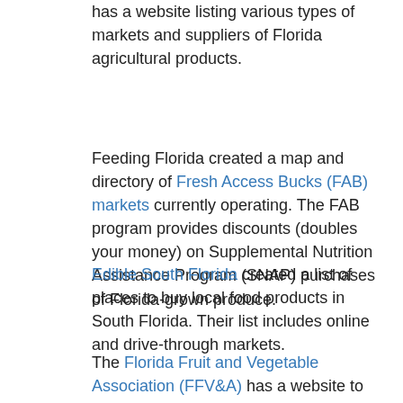has a website listing various types of markets and suppliers of Florida agricultural products.
Feeding Florida created a map and directory of Fresh Access Bucks (FAB) markets currently operating. The FAB program provides discounts (doubles your money) on Supplemental Nutrition Assistance Program (SNAP) purchases of Florida-grown produce.
Edible South Florida created a list of places to buy local food products in South Florida. Their list includes online and drive-through markets.
The Florida Fruit and Vegetable Association (FFV&A) has a website to help publicize Florida farms selling